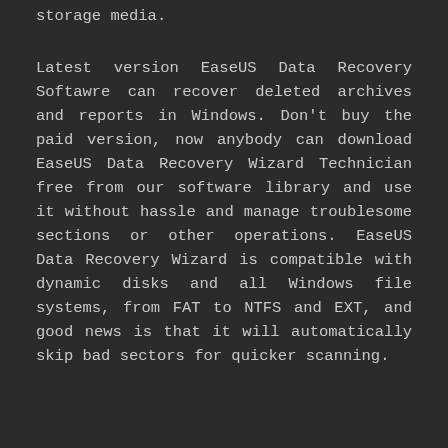storage media.
Latest version EaseUS Data Recovery Softawre can recover deleted archives and reports in Windows. Don't buy the paid version, now anybody can download EaseUS Data Recovery Wizard Technician free from our software library and use it without hassle and manage troublesome sections or other operations. EaseUS Data Recovery Wizard is compatible with dynamic disks and all Windows file systems, from FAT to NTFS and EXT, and good news is that it will automatically skip bad sectors for quicker scanning.